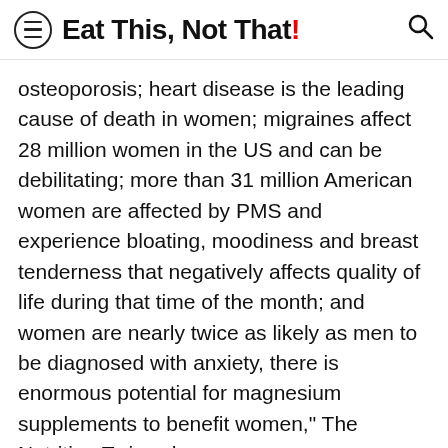Eat This, Not That!
osteoporosis; heart disease is the leading cause of death in women; migraines affect 28 million women in the US and can be debilitating; more than 31 million American women are affected by PMS and experience bloating, moodiness and breast tenderness that negatively affects quality of life during that time of the month; and women are nearly twice as likely as men to be diagnosed with anxiety, there is enormous potential for magnesium supplements to benefit women," The Nutrition Twins share.
Which magnesium supplement you should